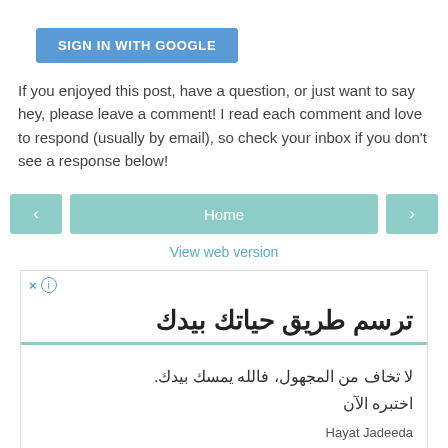[Figure (screenshot): Blue 'SIGN IN WITH GOOGLE' button]
If you enjoyed this post, have a question, or just want to say hey, please leave a comment! I read each comment and love to respond (usually by email), so check your inbox if you don't see a response below!
[Figure (screenshot): Navigation bar with left arrow, Home button, and right arrow]
View web version
[Figure (screenshot): Advertisement box with Arabic text: 'ترسم طريق حياتك بيدك' (headline), 'لا تخاف من المجهول، فالله يمسك بيدك. اختبره الآن' (body), Hayat Jadeeda (brand)]